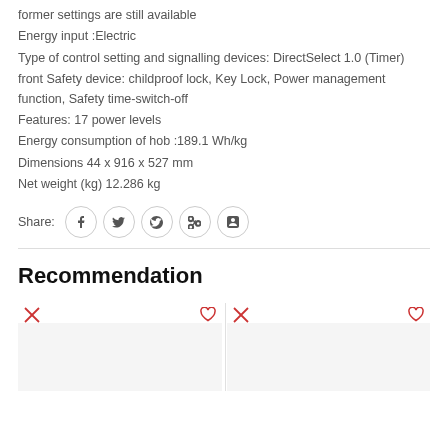former settings are still available
Energy input :Electric
Type of control setting and signalling devices: DirectSelect 1.0 (Timer)
front Safety device: childproof lock, Key Lock, Power management function, Safety time-switch-off
Features: 17 power levels
Energy consumption of hob :189.1 Wh/kg
Dimensions 44 x 916 x 527 mm
Net weight (kg) 12.286 kg
Share:
Recommendation
[Figure (other): Two product recommendation cards with expand and wishlist icons, showing product images below]